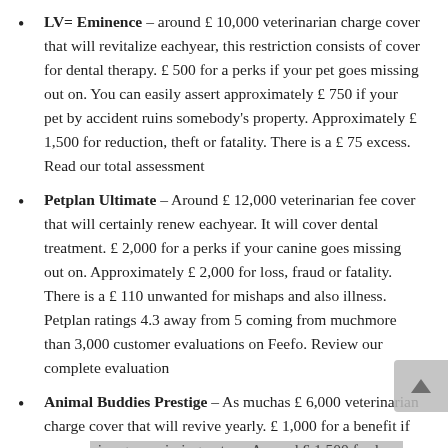LV= Eminence – around £ 10,000 veterinarian charge cover that will revitalize eachyear, this restriction consists of cover for dental therapy. £ 500 for a perks if your pet goes missing out on. You can easily assert approximately £ 750 if your pet by accident ruins somebody's property. Approximately £ 1,500 for reduction, theft or fatality. There is a £ 75 excess. Read our total assessment
Petplan Ultimate – Around £ 12,000 veterinarian fee cover that will certainly renew eachyear. It will cover dental treatment. £ 2,000 for a perks if your canine goes missing out on. Approximately £ 2,000 for loss, fraud or fatality. There is a £ 110 unwanted for mishaps and also illness. Petplan ratings 4.3 away from 5 coming from muchmore than 3,000 customer evaluations on Feefo. Review our complete evaluation
Animal Buddies Prestige – As muchas £ 6,000 veterinarian charge cover that will revive yearly. £ 1,000 for a benefit if your canine goes missing out on. Around £ 1,500 for loss, burglary or death. You may profess as muchas £ 750 if your dog unintentionally harms someone's property. There is a £ 99 excess. Pet Buddies ratings 8.6 away from 10 coming from greater than 5,000 client assessments on Trustpilot. Read our total assessment